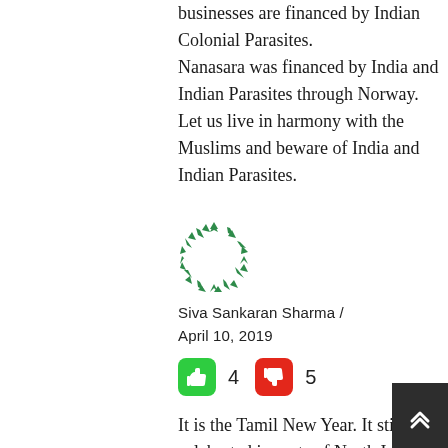businesses are financed by Indian Colonial Parasites.
Nanasara was financed by India and Indian Parasites through Norway.
Let us live in harmony with the Muslims and beware of India and Indian Parasites.
[Figure (logo): Circular logo made of green diamond/arrow shapes arranged in a ring]
Siva Sankaran Sharma / April 10, 2019
[Figure (infographic): Thumbs up (green) with count 4, thumbs down (red) with count 5]
It is the Tamil New Year. It still celebrated in parts of North India due to their ancient Tamil Dravidian heritage and origin but called by different names. Bengali are